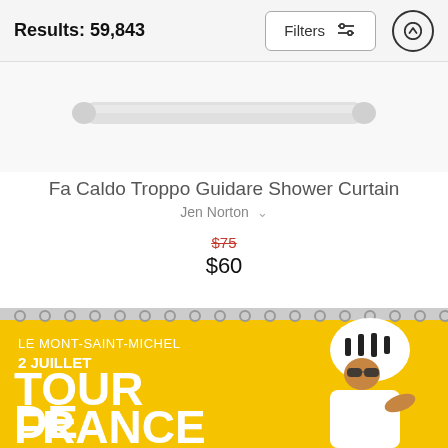Results: 59,843
Filters
[Figure (photo): Top portion of a shower curtain product showing curtain rod and white curtain rings on a light grey background]
Fa Caldo Troppo Guidare Shower Curtain
Jen Norton
$75 (original, crossed out) $60 (sale price)
[Figure (photo): Yellow Tour de France shower curtain showing text: LE MONT-SAINT-MICHEL, 2 JUILLET, TOUR DE FRANCE, with a cyclist illustration on the right]